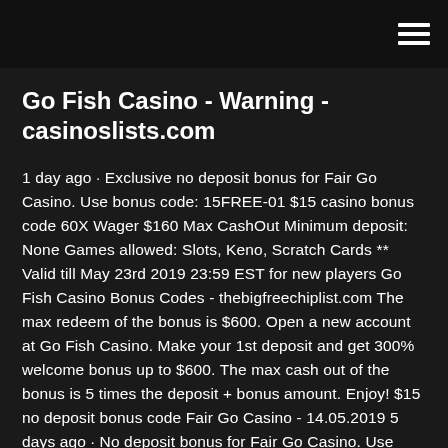Go Fish Casino - Warning - casinoslists.com
1 day ago · Exclusive no deposit bonus for Fair Go Casino. Use bonus code: 15FREE-01 $15 casino bonus code 60X Wager $160 Max CashOut Minimum deposit: None Games allowed: Slots, Keno, Scratch Cards ** Valid till May 23rd 2019 23:59 EST for new players Go Fish Casino Bonus Codes - thebigfreechiplist.com The max redeem of the bonus is $600. Open a new account at Go Fish Casino. Make your 1st deposit and get 300% welcome bonus up to $600. The max cash out of the bonus is 5 times the deposit + bonus amount. Enjoy! $15 no deposit bonus code Fair Go Casino - 14.05.2019 5 days ago · No deposit bonus for Fair Go Casino. Use bonus code: 15FREE $15 free casino